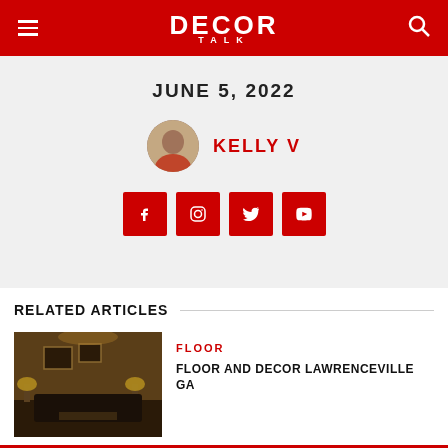DECOR TALK
JUNE 5, 2022
KELLY V
[Figure (other): Social media icons: Facebook, Instagram, Twitter, YouTube on red square backgrounds]
RELATED ARTICLES
[Figure (photo): Interior room with dark furniture, lamps, and wall art in warm tones]
FLOOR
FLOOR AND DECOR LAWRENCEVILLE GA